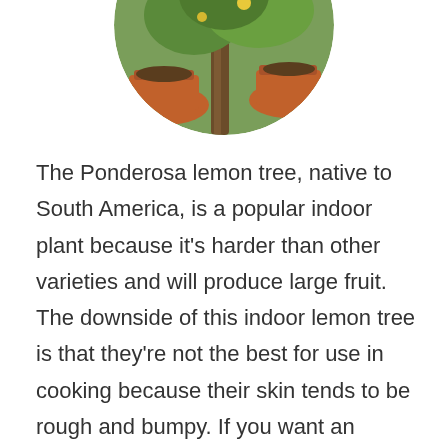[Figure (photo): Circular cropped photo showing a small tree trunk with terracotta pots and green foliage in the background, partially cropped at top of page.]
The Ponderosa lemon tree, native to South America, is a popular indoor plant because it's harder than other varieties and will produce large fruit. The downside of this indoor lemon tree is that they're not the best for use in cooking because their skin tends to be rough and bumpy. If you want an indoor lemon tree that can also be used as ornamental décor, then